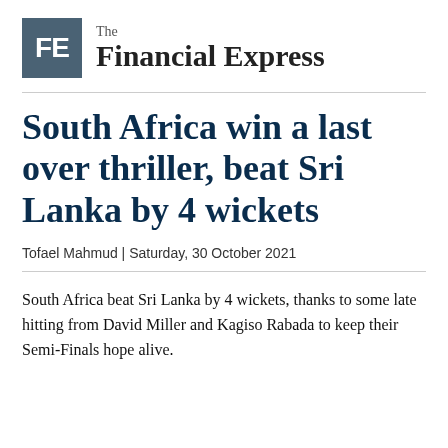The Financial Express
South Africa win a last over thriller, beat Sri Lanka by 4 wickets
Tofael Mahmud | Saturday, 30 October 2021
South Africa beat Sri Lanka by 4 wickets, thanks to some late hitting from David Miller and Kagiso Rabada to keep their Semi-Finals hope alive.